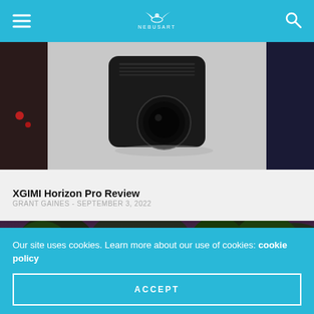Nebusart header with menu, logo, search
[Figure (photo): Black XGIMI Horizon Pro projector on a light gray background, with dark ambient lighting around edges]
XGIMI Horizon Pro Review
GRANT GAINES - SEPTEMBER 3, 2022
[Figure (photo): Dark jungle/forest video game screenshot with tropical trees, warm lighting, and a small character]
Our site uses cookies. Learn more about our use of cookies: cookie policy
ACCEPT